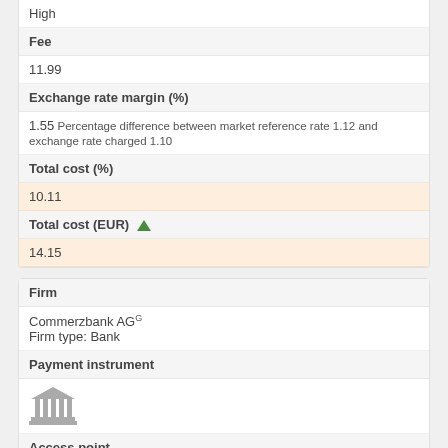High
Fee
11.99
Exchange rate margin (%)
1.55 Percentage difference between market reference rate 1.12 and exchange rate charged 1.10
Total cost (%)
10.11
Total cost (EUR)
14.15
Firm
Commerzbank AG
Firm type: Bank
Payment instrument
[Figure (illustration): Bank/institution icon (classical building with columns)]
Access point
Call Center
Sending network coverage
High
Transfer speed